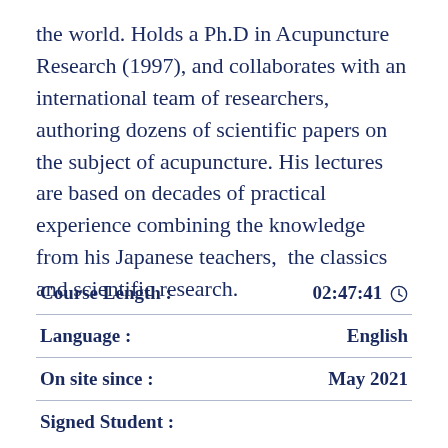the world. Holds a Ph.D in Acupuncture Research (1997), and collaborates with an international team of researchers, authoring dozens of scientific papers on the subject of acupuncture. His lectures are based on decades of practical experience combining the knowledge from his Japanese teachers,  the classics and scientific research.
|  |  |
| --- | --- |
| Course Length : | 02:47:41 ⊙ |
| Language : | English |
| On site since : | May 2021 |
| Signed Student : | 0 |